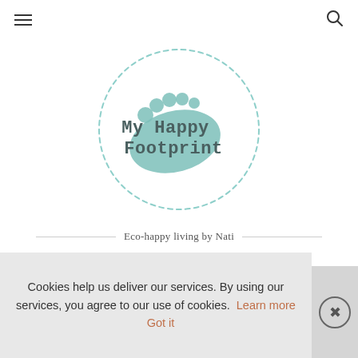[Figure (logo): My Happy Footprint logo — a teal/mint footprint shape with the text 'My Happy Footprint' inside a dashed circular border]
Eco-happy living by Nati
[Figure (infographic): Social media icon row: Facebook (f), Instagram (circle), LinkedIn (in), Email (envelope)]
Cookies help us deliver our services. By using our services, you agree to our use of cookies. Learn more  Got it